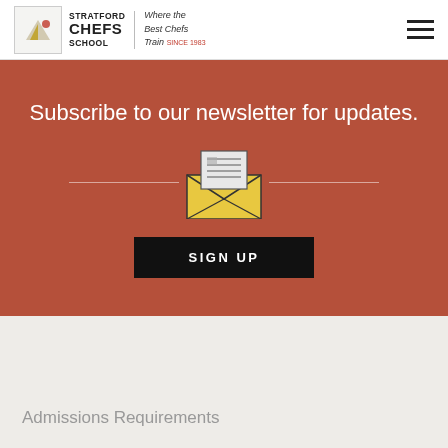STRATFORD CHEFS SCHOOL | Where the Best Chefs Train SINCE 1983
Subscribe to our newsletter for updates.
[Figure (illustration): Envelope icon with letter/document coming out of top, with horizontal lines on either side]
SIGN UP
Admissions Requirements